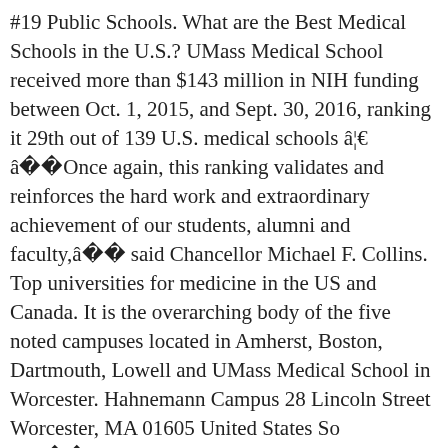#19 Public Schools. What are the Best Medical Schools in the U.S.? UMass Medical School received more than $143 million in NIH funding between Oct. 1, 2015, and Sept. 30, 2016, ranking it 29th out of 139 U.S. medical schools â¦ âOnce again, this ranking validates and reinforces the hard work and extraordinary achievement of our students, alumni and faculty,â said Chancellor Michael F. Collins. Top universities for medicine in the US and Canada. It is the overarching body of the five noted campuses located in Amherst, Boston, Dartmouth, Lowell and UMass Medical School in Worcester. Hahnemann Campus 28 Lincoln Street Worcester, MA 01605 United States So weâre letting our readers pick. An unanticipated problem was encountered, check back soon and try again UMass Medical School-Baystate, a partnership between Baystate Health, UMass Amherst and UMMS, is training primary care doctors in urban and rural community health. 2019: #41 Overall Business school, #19 Public Schools. Email: UMMSCommunications@umassmed.edu UMass